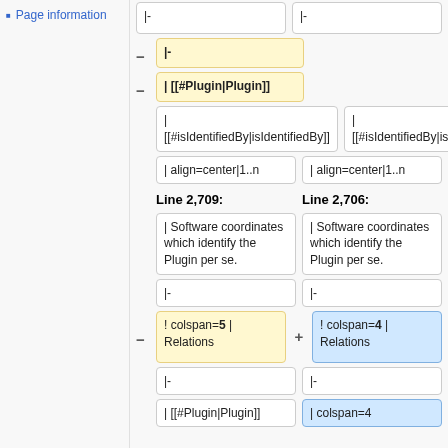Page information
|-
|-
|-
| [[#Plugin|Plugin]]
| [[#isIdentifiedBy|isIdentifiedBy]]
| [[#isIdentifiedBy|isIdentifiedBy]]
| align=center|1..n
| align=center|1..n
Line 2,709:
Line 2,706:
| Software coordinates which identify the Plugin per se.
| Software coordinates which identify the Plugin per se.
|-
|-
! colspan=5 | Relations
! colspan=4 | Relations
|-
|-
| [[#Plugin|Plugin]]
| colspan=4